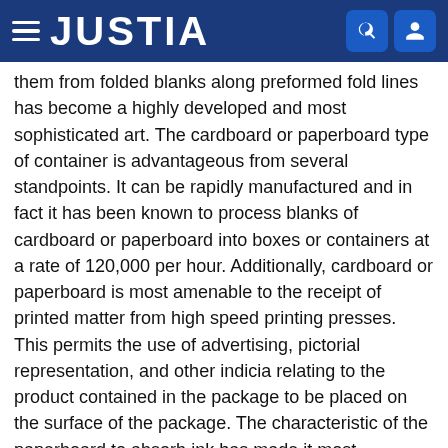JUSTIA
them from folded blanks along preformed fold lines has become a highly developed and most sophisticated art. The cardboard or paperboard type of container is advantageous from several standpoints. It can be rapidly manufactured and in fact it has been known to process blanks of cardboard or paperboard into boxes or containers at a rate of 120,000 per hour. Additionally, cardboard or paperboard is most amenable to the receipt of printed matter from high speed printing presses. This permits the use of advertising, pictorial representation, and other indicia relating to the product contained in the package to be placed on the surface of the package. The characteristic of the paperboard to absorb ink has made it most amenable to such use.
More recently, a number of factors have come into play which have made clear plastic containers more